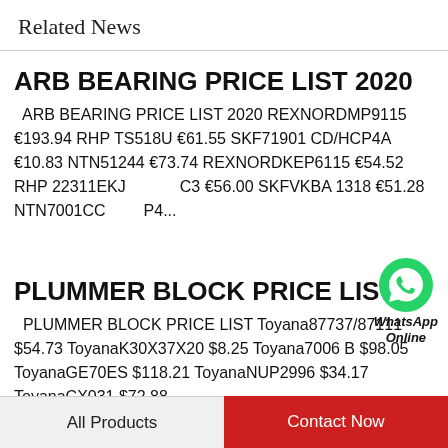Related News
ARB BEARING PRICE LIST 2020
ARB BEARING PRICE LIST 2020 REXNORDMP9115 €193.94 RHP TS518U €61.55 SKF71901 CD/HCP4A €10.83 NTN51244 €73.74 REXNORDKEP6115 €54.52 RHP 22311EKJ...C3 €56.00 SKFVKBA 1318 €51.28 NTN7001CC...P4...
[Figure (logo): WhatsApp Online green chat icon with label]
PLUMMER BLOCK PRICE LIST
PLUMMER BLOCK PRICE LIST Toyana87737/87111 $54.73 ToyanaK30X37X20 $8.25 Toyana7006 B $98.05 ToyanaGE70ES $118.21 ToyanaNUP2996 $34.17 ToyanaCX031 $72.88
All Products   Contact Now